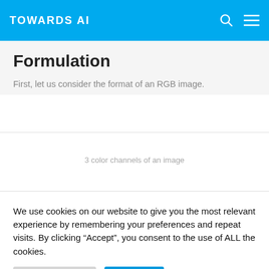TOWARDS AI
Formulation
First, let us consider the format of an RGB image.
3 color channels of an image
We use cookies on our website to give you the most relevant experience by remembering your preferences and repeat visits. By clicking “Accept”, you consent to the use of ALL the cookies.